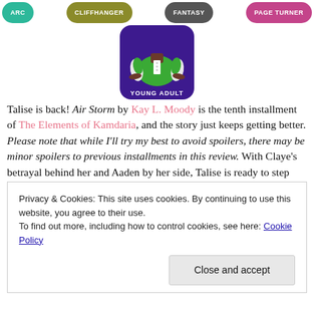[Figure (illustration): Row of genre category buttons: ARC (teal), CLIFFHANGER (olive), FANTASY (dark gray), PAGE TURNER (pink/magenta) at the top of the page]
[Figure (illustration): YOUNG ADULT badge: purple rounded square with a green varsity jacket icon and 'YOUNG ADULT' text below]
Talise is back! Air Storm by Kay L. Moody is the tenth installment of The Elements of Kamdaria, and the story just keeps getting better. Please note that while I'll try my best to avoid spoilers, there may be minor spoilers to previous installments in this review. With Claye's betrayal behind her and Aaden by her side, Talise is ready to step
Privacy & Cookies: This site uses cookies. By continuing to use this website, you agree to their use.
To find out more, including how to control cookies, see here: Cookie Policy
[Close and accept button]